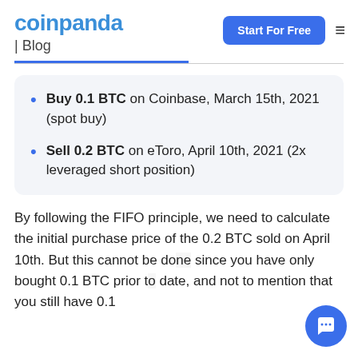coinpanda | Blog
Buy 0.1 BTC on Coinbase, March 15th, 2021 (spot buy)
Sell 0.2 BTC on eToro, April 10th, 2021 (2x leveraged short position)
By following the FIFO principle, we need to calculate the initial purchase price of the 0.2 BTC sold on April 10th. But this cannot be done since you have only bought 0.1 BTC prior to date, and not to mention that you still have 0.1